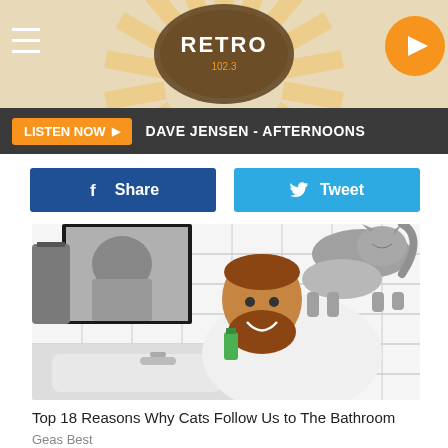[Figure (screenshot): Retro radio station header with sunburst pattern background, hamburger menu icon on left, RETRO logo in center, orange play button on right]
LISTEN NOW ▶  DAVE JENSEN - AFTERNOONS
[Figure (other): Facebook Share button and Twitter Tweet button side by side]
[Figure (photo): Photo of a bearded man at a bathroom sink with a cat standing on his back. White subway tile walls, mirror with reflection of cat visible. Man is smiling, wearing a white long-sleeve shirt.]
Top 18 Reasons Why Cats Follow Us to The Bathroom
Geas Best